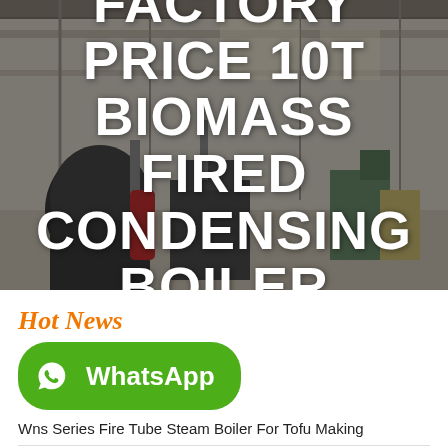[Figure (photo): Industrial factory interior with large machinery, boilers, and steel structures under a high ceiling. Dark overlay applied.]
FACTORY PRICE 10T BIOMASS FIRED CONDENSING BOILER
Hot News
[Figure (logo): WhatsApp button logo in green with phone icon and text 'WhatsApp']
Wns Series Fire Tube Steam Boiler For Tofu Making
Supplying 1t Biomass Boiler Plant Energy Saving Latvia